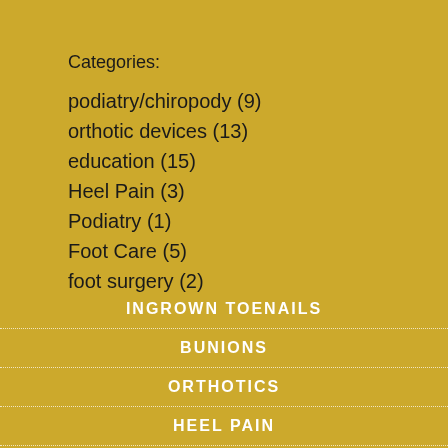Categories:
podiatry/chiropody (9)
orthotic devices (13)
education (15)
Heel Pain (3)
Podiatry (1)
Foot Care (5)
foot surgery (2)
INGROWN TOENAILS
BUNIONS
ORTHOTICS
HEEL PAIN
LASER THERAPY